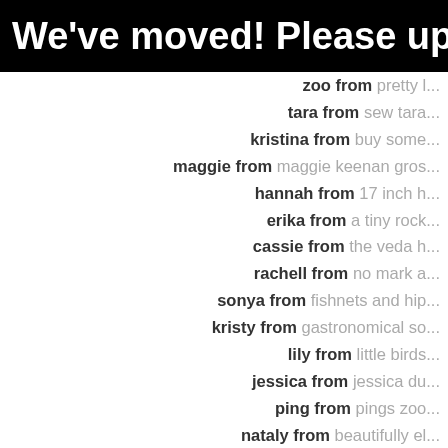We've moved! Please update you
zoo from pretty l...
tara from sew tara...
kristina from buy some...
maggie from maggie keenan gros...
hannah from 17 inch h...
erika from a tiny rock...
cassie from the veda h...
rachell from no mark a...
sonya from fishnets and hip...
kristy from gastronomical so...
lily from little birds...
jessica from jessica du...
ping from pings zoo...
nataly from beautifully el...
natalia from i could make...
& of course kaitlyn from is...